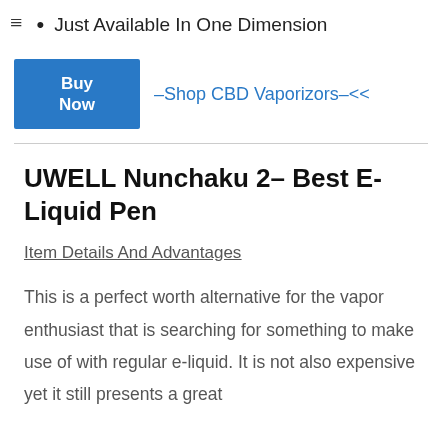Just Available In One Dimension
Buy Now | –Shop CBD Vaporizors–<<
UWELL Nunchaku 2– Best E-Liquid Pen
Item Details And Advantages
This is a perfect worth alternative for the vapor enthusiast that is searching for something to make use of with regular e-liquid. It is not also expensive yet it still presents a great